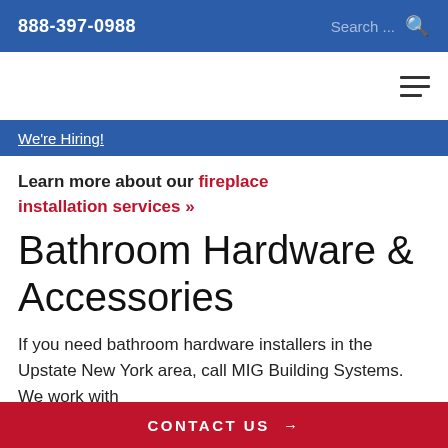888-397-0988  Search ...
We're Hiring!
Learn more about our fireplace installation services »
Bathroom Hardware & Accessories
If you need bathroom hardware installers in the Upstate New York area, call MIG Building Systems. We work with
CONTACT US →